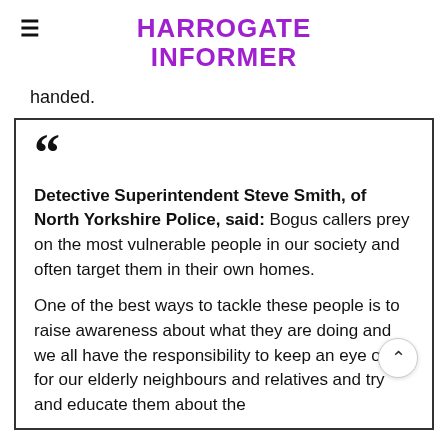HARROGATE INFORMER
handed.
" Detective Superintendent Steve Smith, of North Yorkshire Police, said: Bogus callers prey on the most vulnerable people in our society and often target them in their own homes.

One of the best ways to tackle these people is to raise awareness about what they are doing and we all have the responsibility to keep an eye out for our elderly neighbours and relatives and try and educate them about the